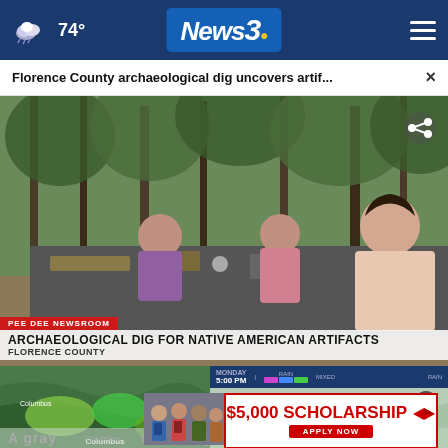74° News3
Florence County archaeological dig uncovers artif... ×
[Figure (screenshot): TV news broadcast showing people at an outdoor archaeological dig table sorting through artifacts in a wooded setting. Lower third chyron reads: PEE DEE NEWSROOM / ARCHAEOLOGICAL DIG FOR NATIVE AMERICAN ARTIFACTS / FLORENCE COUNTY]
[Figure (screenshot): Weather radar map showing Monday 5:00 PM with rain/mixed legend indicators and map showing areas including LaGrange and Columbus]
[Figure (photo): Group of young students/people used in scholarship advertisement]
$5,000 SCHOLARSHIP APPLY NOW
A gray week begins...